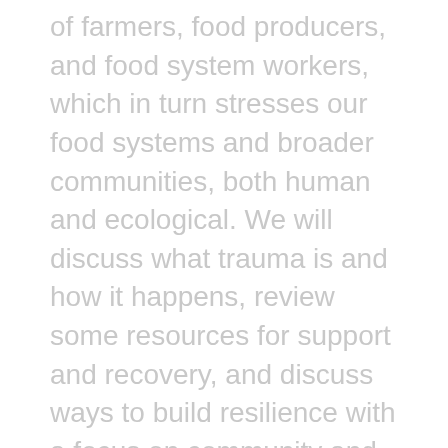of farmers, food producers, and food system workers, which in turn stresses our food systems and broader communities, both human and ecological. We will discuss what trauma is and how it happens, review some resources for support and recovery, and discuss ways to build resilience with a focus on community and relationships as protective factors.
Adrienne Masler is a farm worker and life coach in Tompkins County. She has both professional and personal interest in trauma and resilience: she teaches tools that have helped her recover and build resilience. Adrienne is combining coaching and farming